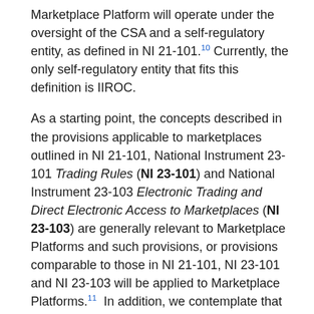Marketplace Platform will operate under the oversight of the CSA and a self-regulatory entity, as defined in NI 21-101.10 Currently, the only self-regulatory entity that fits this definition is IIROC.
As a starting point, the concepts described in the provisions applicable to marketplaces outlined in NI 21-101, National Instrument 23-101 Trading Rules (NI 23-101) and National Instrument 23-103 Electronic Trading and Direct Electronic Access to Marketplaces (NI 23-103) are generally relevant to Marketplace Platforms and such provisions, or provisions comparable to those in NI 21-101, NI 23-101 and NI 23-103 will be applied to Marketplace Platforms.11 In addition, we contemplate that the trading activity on a Marketplace Platform will be subject to market integrity requirements